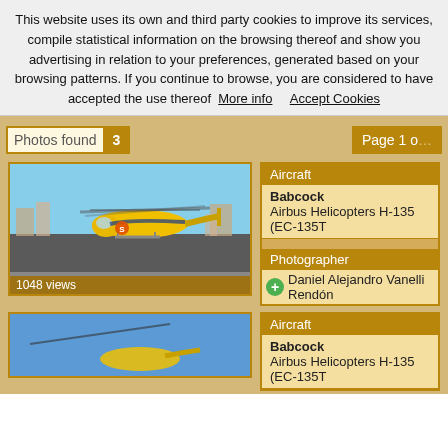This website uses its own and third party cookies to improve its services, compile statistical information on the browsing thereof and show you advertising in relation to your preferences, generated based on your browsing patterns. If you continue to browse, you are considered to have accepted the use thereof  More info    Accept Cookies
Photos found 3
Page 1 o...
[Figure (photo): Yellow Babcock Airbus Helicopters H-135 helicopter on ground with rotor spinning, blue sky background]
1048 views
Aircraft
Babcock
Airbus Helicopters H-135 (EC-135T...
Photographer
Daniel Alejandro Vanelli Rendón...
[Figure (photo): Partial view of a helicopter against blue sky]
Aircraft
Babcock
Airbus Helicopters H-135 (EC-135T...